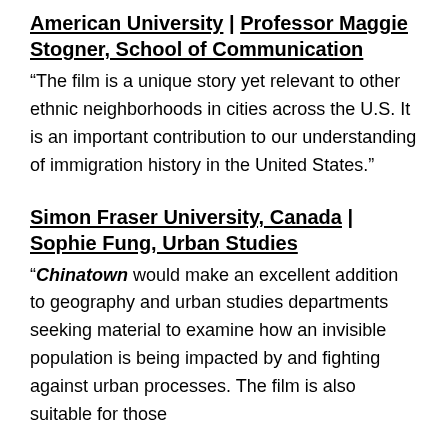American University | Professor Maggie Stogner, School of Communication
“The film is a unique story yet relevant to other ethnic neighborhoods in cities across the U.S. It is an important contribution to our understanding of immigration history in the United States.”
Simon Fraser University, Canada | Sophie Fung, Urban Studies
“Chinatown would make an excellent addition to geography and urban studies departments seeking material to examine how an invisible population is being impacted by and fighting against urban processes. The film is also suitable for those